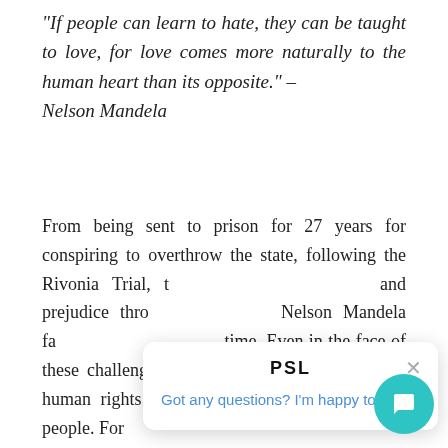"If people can learn to hate, they can be taught to love, for love comes more naturally to the human heart than its opposite." – Nelson Mandela
From being sent to prison for 27 years for conspiring to overthrow the state, following the Rivonia Trial, t[he hatred] and prejudice thro[ughout his life,] Nelson Mandela fa[ced challenges of his] time. Even in the face of these challenges, he never stopped the fight for human rights [and] protecting the dignity of his people. For